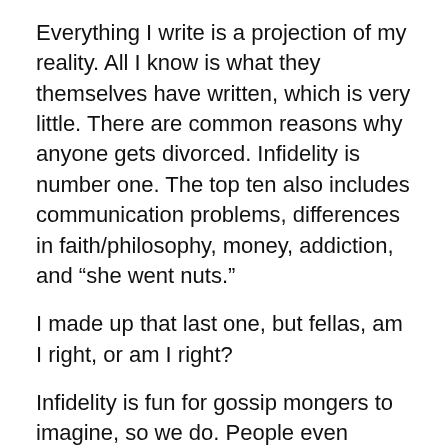Everything I write is a projection of my reality. All I know is what they themselves have written, which is very little. There are common reasons why anyone gets divorced. Infidelity is number one. The top ten also includes communication problems, differences in faith/philosophy, money, addiction, and “she went nuts.”
I made up that last one, but fellas, am I right, or am I right?
Infidelity is fun for gossip mongers to imagine, so we do. People even accused Dooce of being gay with her style-challenged friend Cami. “Is Dooce gay?” appears daily on my query list as well. Heather has denied that outright, and I believe her. Despite the haircut.
Whether someone cheats emotionally or carnally, I think cheating is an element of every divorce. Even if it’s you, …reading “Fifty Shades of Grey”… and the …